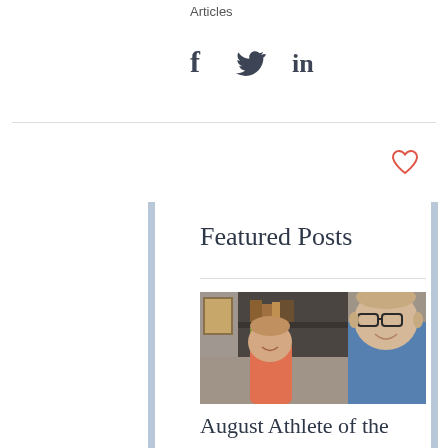Articles
[Figure (infographic): Social share icons: Facebook (f), Twitter (bird), LinkedIn (in)]
[Figure (other): Heart/like icon (outlined, red/coral color)]
Featured Posts
[Figure (photo): Photo of a man with glasses and a baby/toddler in red shirt, with bookshelves in background]
August Athlete of the Month